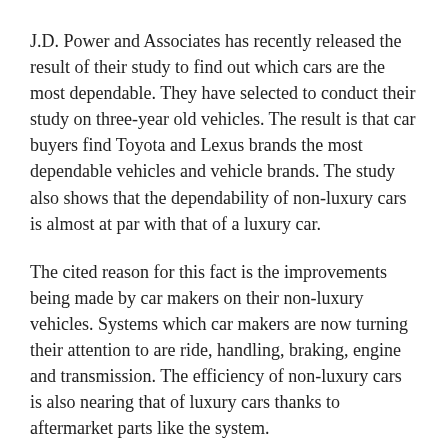J.D. Power and Associates has recently released the result of their study to find out which cars are the most dependable. They have selected to conduct their study on three-year old vehicles. The result is that car buyers find Toyota and Lexus brands the most dependable vehicles and vehicle brands. The study also shows that the dependability of non-luxury cars is almost at par with that of a luxury car.
The cited reason for this fact is the improvements being made by car makers on their non-luxury vehicles. Systems which car makers are now turning their attention to are ride, handling, braking, engine and transmission. The efficiency of non-luxury cars is also nearing that of luxury cars thanks to aftermarket parts like the system.